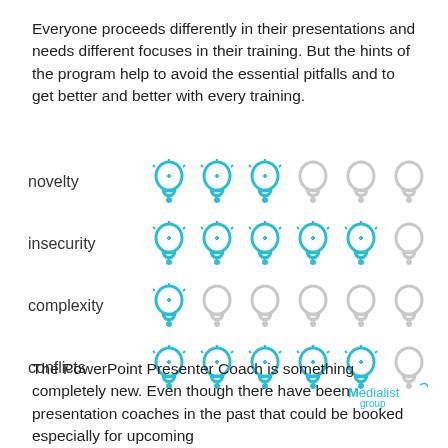Everyone proceeds differently in their presentations and needs different focuses in their training. But the hints of the program help to avoid the essential pitfalls and to get better and better with every training.
[Figure (infographic): Rating chart showing four categories (novelty, insecurity, complexity, conflicts) each with 6 lightbulb icons. Filled/colored (teal) bulbs indicate rating level; grey bulbs indicate unfilled. Novelty: 3 teal, 3 grey. Insecurity: 5 teal, 1 grey. Complexity: 1 teal, 5 grey. Conflicts: 5 teal, 1 grey.]
The PowerPoint Presenter Coach is something completely new. Even though there have been presentation coaches in the past that could be booked especially for upcoming